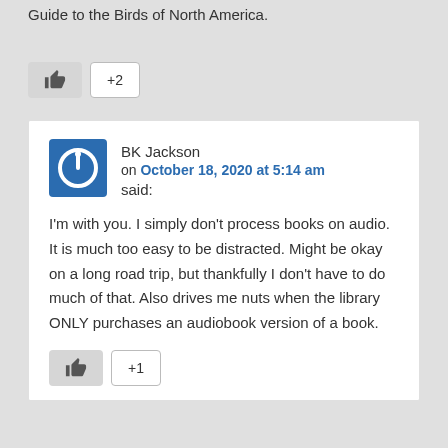Guide to the Birds of North America.
[Figure (other): Like/thumbs-up button with +2 badge]
BK Jackson on October 18, 2020 at 5:14 am said:
I'm with you. I simply don't process books on audio. It is much too easy to be distracted. Might be okay on a long road trip, but thankfully I don't have to do much of that. Also drives me nuts when the library ONLY purchases an audiobook version of a book.
[Figure (other): Like/thumbs-up button with +1 badge]